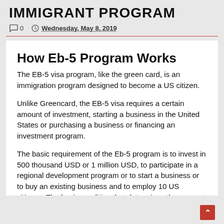IMMIGRANT PROGRAM
0  Wednesday, May 8, 2019
How Eb-5 Program Works
The EB-5 visa program, like the green card, is an immigration program designed to become a US citizen.
Unlike Greencard, the EB-5 visa requires a certain amount of investment, starting a business in the United States or purchasing a business or financing an investment program.
The basic requirement of the Eb-5 program is to invest in 500 thousand USD or 1 million USD, to participate in a regional development program or to start a business or to buy an existing business and to employ 10 US citizens. The basic condition that determines the amount of investment you need to